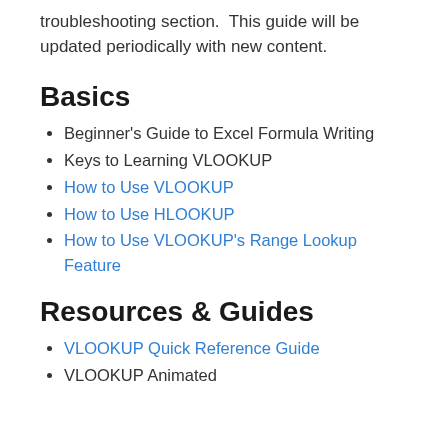troubleshooting section.  This guide will be updated periodically with new content.
Basics
Beginner's Guide to Excel Formula Writing
Keys to Learning VLOOKUP
How to Use VLOOKUP
How to Use HLOOKUP
How to Use VLOOKUP's Range Lookup Feature
Resources & Guides
VLOOKUP Quick Reference Guide
VLOOKUP Animated